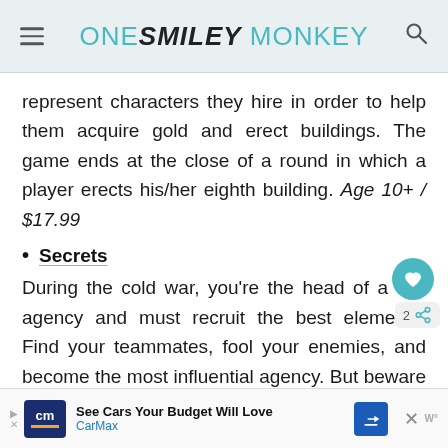ONE SMILEY MONKEY
represent characters they hire in order to help them acquire gold and erect buildings. The game ends at the close of a round in which a player erects his/her eighth building. Age 10+ / $17.99
Secrets
During the cold war, you’re the head of a spy agency and must recruit the best elements. Find your teammates, fool your enemies, and become the most influential agency. But beware the Hippies, who could very well save the world... Age 10 + /$29.99